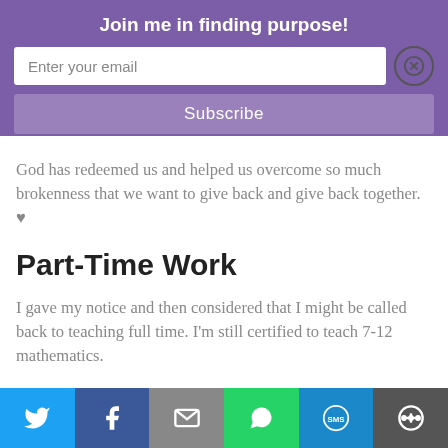Join me in finding purpose!
[Figure (screenshot): Email subscription form with text input 'Enter your email', a close (X) button, and a 'Subscribe' button]
God has redeemed us and helped us overcome so much brokenness that we want to give back and give back together. ♥
Part-Time Work
I gave my notice and then considered that I might be called back to teaching full time. I'm still certified to teach 7-12 mathematics.
[Figure (infographic): Social sharing bar with Twitter, Facebook, Email, WhatsApp, SMS, and More buttons]